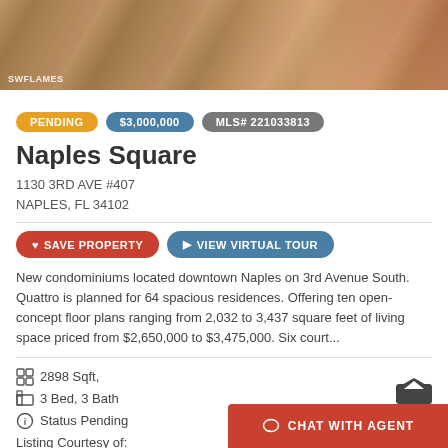[Figure (photo): Aerial or street-level photo of a paved roadway or courtyard with brick/stone paving, light streaks, and reddish landscaping. Watermark 'SWFLAMES' in lower left.]
PENDING  $3,000,000  MLS# 221033813
Naples Square
1130 3RD AVE #407
NAPLES, FL 34102
SAVE PROPERTY   VIEW VIRTUAL TOUR
New condominiums located downtown Naples on 3rd Avenue South. Quattro is planned for 64 spacious residences. Offering ten open-concept floor plans ranging from 2,032 to 3,437 square feet of living space priced from $2,650,000 to $3,475,000. Six court...
2898 Sqft,
3 Bed, 3 Bath
Status Pending
Listing Courtesy of:
Ronto Realty
CHAT WITH AGENT